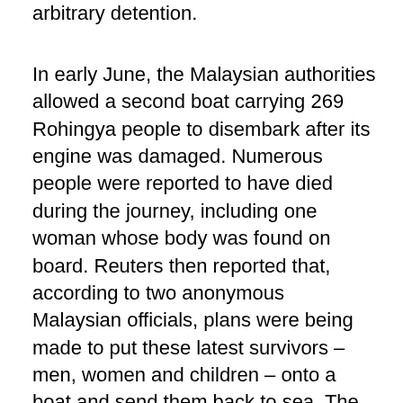arbitrary detention.
In early June, the Malaysian authorities allowed a second boat carrying 269 Rohingya people to disembark after its engine was damaged. Numerous people were reported to have died during the journey, including one woman whose body was found on board. Reuters then reported that, according to two anonymous Malaysian officials, plans were being made to put these latest survivors – men, women and children – onto a boat and send them back to sea. The head of the Malaysian maritime agency later refused to deny these plans, all while acknowledging that dozens on the ship had not survived.